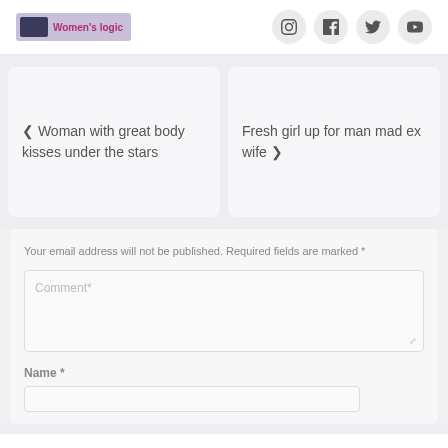Women's logic — social media navigation header
‹ Woman with great body kisses under the stars
Fresh girl up for man mad ex wife ›
Your email address will not be published. Required fields are marked *
Comment*
Name *